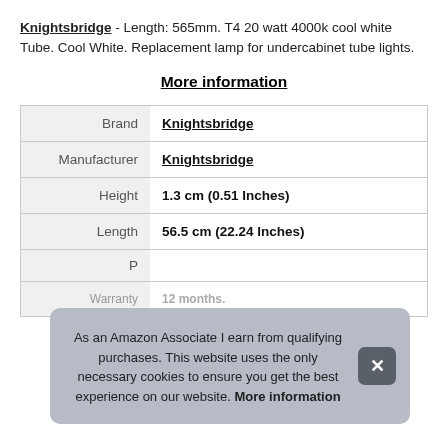Knightsbridge - Length: 565mm. T4 20 watt 4000k cool white Tube. Cool White. Replacement lamp for undercabinet tube lights.
More information
|  |  |
| --- | --- |
| Brand | Knightsbridge |
| Manufacturer | Knightsbridge |
| Height | 1.3 cm (0.51 Inches) |
| Length | 56.5 cm (22.24 Inches) |
| P |  |
| Warranty | 12 months. |
As an Amazon Associate I earn from qualifying purchases. This website uses the only necessary cookies to ensure you get the best experience on our website. More information